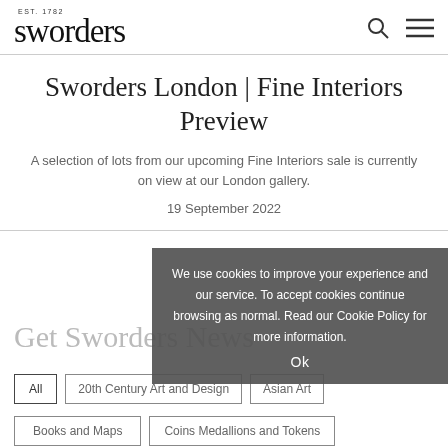EST. 1782 sworders
Sworders London | Fine Interiors Preview
A selection of lots from our upcoming Fine Interiors sale is currently on view at our London gallery.
19 September 2022
We use cookies to improve your experience and our service. To accept cookies continue browsing as normal. Read our Cookie Policy for more information.
Get Sworders News
All
20th Century Art and Design
Asian Art
Books and Maps
Coins Medallions and Tokens